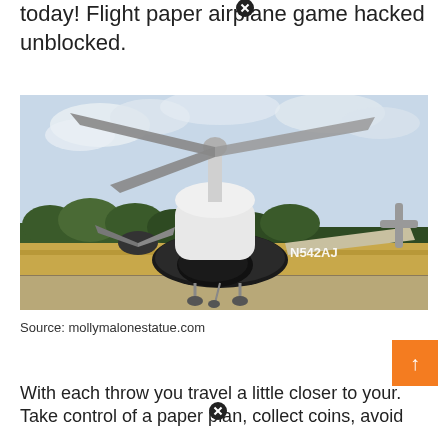today! Flight paper airplane game hacked unblocked.
[Figure (photo): A tilt-rotor or compound helicopter aircraft with registration N542AJ on a runway, with large overhead rotors and trees in background.]
Source: mollymalonestatue.com
With each throw you travel a little closer to your. Take control of a paper plan, collect coins, avoid